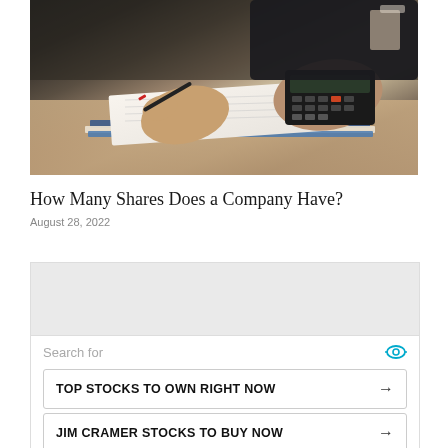[Figure (photo): Person sitting at a desk writing on documents with a pen, using a calculator, with stacked notebooks/folders on a wooden table surface.]
How Many Shares Does a Company Have?
August 28, 2022
[Figure (screenshot): Advertisement block with gray area, search prompt 'Search for' with eye icon, two clickable buttons: 'TOP STOCKS TO OWN RIGHT NOW' and 'JIM CRAMER STOCKS TO BUY NOW', each with arrow. Footer shows 'Ad | Business Focus' with play icon.]